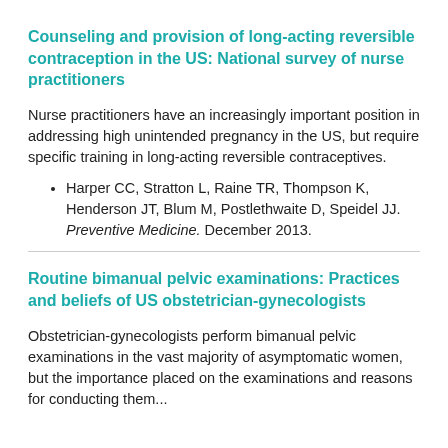Counseling and provision of long-acting reversible contraception in the US: National survey of nurse practitioners
Nurse practitioners have an increasingly important position in addressing high unintended pregnancy in the US, but require specific training in long-acting reversible contraceptives.
Harper CC, Stratton L, Raine TR, Thompson K, Henderson JT, Blum M, Postlethwaite D, Speidel JJ. Preventive Medicine. December 2013.
Routine bimanual pelvic examinations: Practices and beliefs of US obstetrician-gynecologists
Obstetrician-gynecologists perform bimanual pelvic examinations in the vast majority of asymptomatic women, but the importance placed on the examinations and reasons for conducting them...